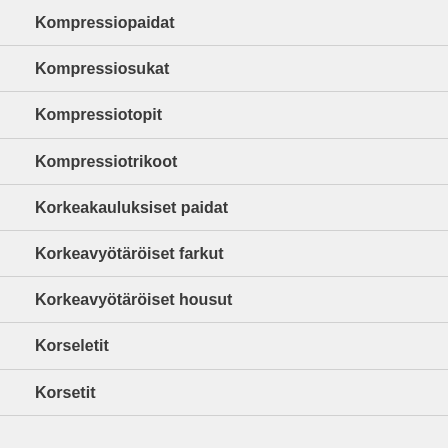Kompressiopaidat
Kompressiosukat
Kompressiotopit
Kompressiotrikoot
Korkeakauluksiset paidat
Korkeavyötäröiset farkut
Korkeavyötäröiset housut
Korseletit
Korsetit